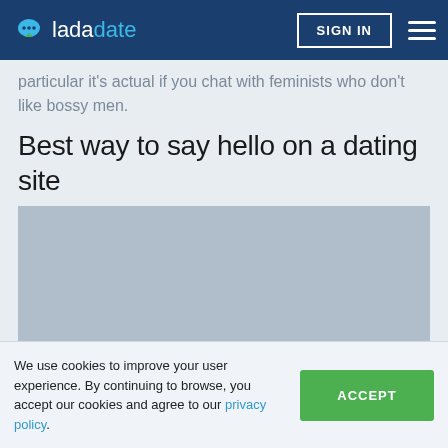ladadate — SIGN IN
particular it's actual if you chat with feminists who don't like bossy men.
Best way to say hello on a dating site
[Figure (photo): Image placeholder (grey rectangle) for article about best way to say hello on a dating site]
We use cookies to improve your user experience. By continuing to browse, you accept our cookies and agree to our privacy policy.